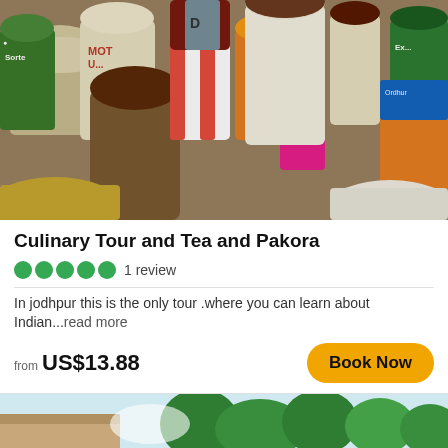[Figure (photo): Colorful bags and sacks of spices, grains, and legumes at an Indian market, with various branded packaging visible including MOTU and TAJ brands.]
Culinary Tour and Tea and Pakora
●●●●●  1 review
In jodhpur this is the only tour .where you can learn about Indian...read more
from US$13.88
Book Now
[Figure (photo): Partial view of a building with trees in the background, bottom strip of a second listing card.]